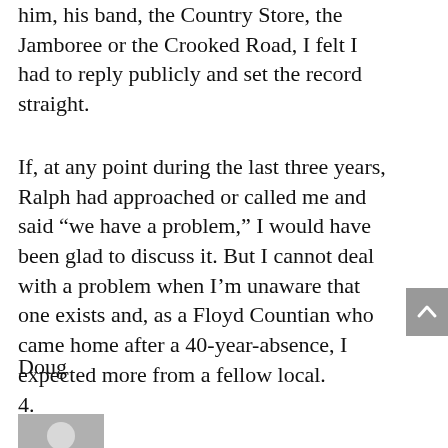him, his band, the Country Store, the Jamboree or the Crooked Road, I felt I had to reply publicly and set the record straight.
If, at any point during the last three years, Ralph had approached or called me and said “we have a problem,” I would have been glad to discuss it. But I cannot deal with a problem when I’m unaware that one exists and, as a Floyd Countian who came home after a 40-year-absence, I expected more from a fellow local.
Doug
4.
[Figure (illustration): Generic user avatar placeholder icon — a grey square with a white silhouette of a person (head and shoulders).]